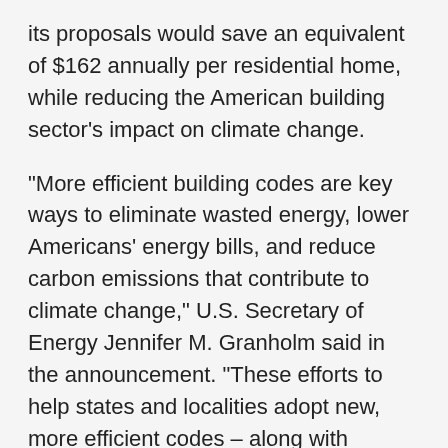its proposals would save an equivalent of $162 annually per residential home, while reducing the American building sector's impact on climate change.
“More efficient building codes are key ways to eliminate wasted energy, lower Americans’ energy bills, and reduce carbon emissions that contribute to climate change,” U.S. Secretary of Energy Jennifer M. Granholm said in the announcement. “These efforts to help states and localities adopt new, more efficient codes – along with President Biden’s plans to produce, preserve, and retrofit millions of homes – will provide Americans safer, healthier, and more comfortable places to live, work, and play.”
The new building codes would provide an energy savings of 9.4% for residential and 4.7% for commercial in comparison to a previous model energy code, according